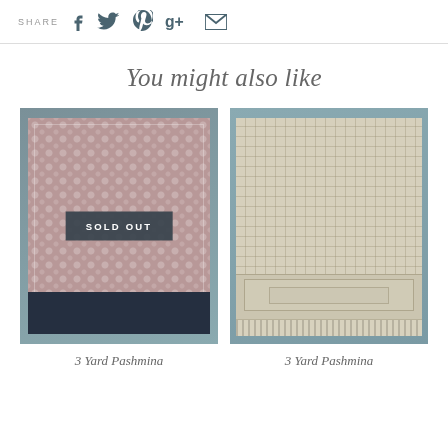SHARE  f  twitter  p  g+  mail
You might also like
[Figure (photo): Mauve/pink floral patterned pashmina with dark navy bottom border, displayed on a rack. Has a 'SOLD OUT' overlay badge.]
[Figure (photo): Cream/beige patterned pashmina with decorative motif border and fringe at bottom, displayed on a rack.]
3 Yard Pashmina
3 Yard Pashmina